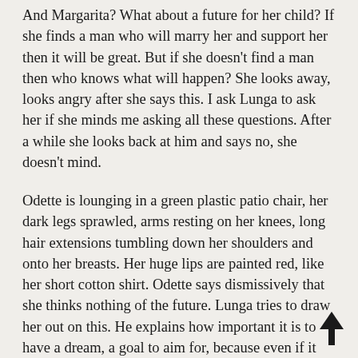And Margarita? What about a future for her child? If she finds a man who will marry her and support her then it will be great. But if she doesn't find a man then who knows what will happen? She looks away, looks angry after she says this. I ask Lunga to ask her if she minds me asking all these questions. After a while she looks back at him and says no, she doesn't mind.
Odette is lounging in a green plastic patio chair, her dark legs sprawled, arms resting on her knees, long hair extensions tumbling down her shoulders and onto her breasts. Her huge lips are painted red, like her short cotton shirt. Odette says dismissively that she thinks nothing of the future. Lunga tries to draw her out on this. He explains how important it is to have a dream, a goal to aim for, because even if it seems impossible now if you start to work for it then you just might achieve it, otherwise you are just waiting to die and then what's the point of living?